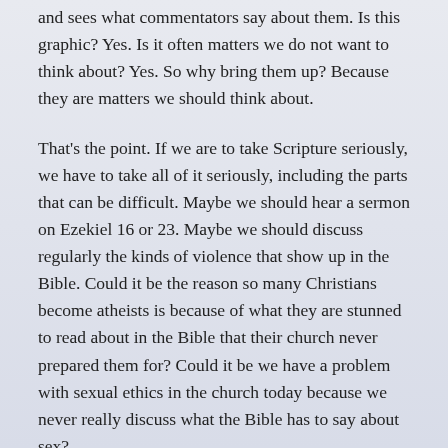and sees what commentators say about them. Is this graphic? Yes. Is it often matters we do not want to think about? Yes. So why bring them up? Because they are matters we should think about.
That's the point. If we are to take Scripture seriously, we have to take all of it seriously, including the parts that can be difficult. Maybe we should hear a sermon on Ezekiel 16 or 23. Maybe we should discuss regularly the kinds of violence that show up in the Bible. Could it be the reason so many Christians become atheists is because of what they are stunned to read about in the Bible that their church never prepared them for? Could it be we have a problem with sexual ethics in the church today because we never really discuss what the Bible has to say about sex?
Smith's work is quite thorough and one worth looking into. These are the kinds of things we need to talk about also to